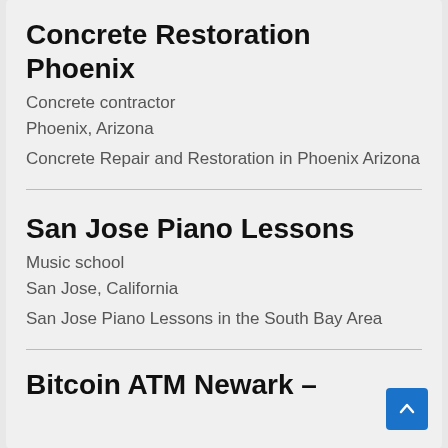Concrete Restoration Phoenix
Concrete contractor
Phoenix, Arizona
Concrete Repair and Restoration in Phoenix Arizona
San Jose Piano Lessons
Music school
San Jose, California
San Jose Piano Lessons in the South Bay Area
Bitcoin ATM Newark –